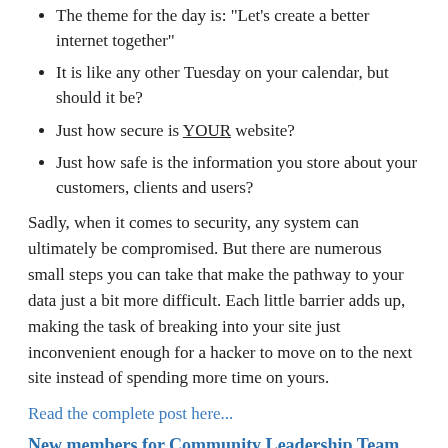The theme for the day is: "Let's create a better internet together"
It is like any other Tuesday on your calendar, but should it be?
Just how secure is YOUR website?
Just how safe is the information you store about your customers, clients and users?
Sadly, when it comes to security, any system can ultimately be compromised. But there are numerous small steps you can take that make the pathway to your data just a bit more difficult. Each little barrier adds up, making the task of breaking into your site just inconvenient enough for a hacker to move on to the next site instead of spending more time on yours.
Read the complete post here...
New members for Community Leadership Team
Written by Peter Martin
Last November we asked the community to nominate candidates for the Community Leadership Team. From the 32 nominated community members we selected a few people for interviews and